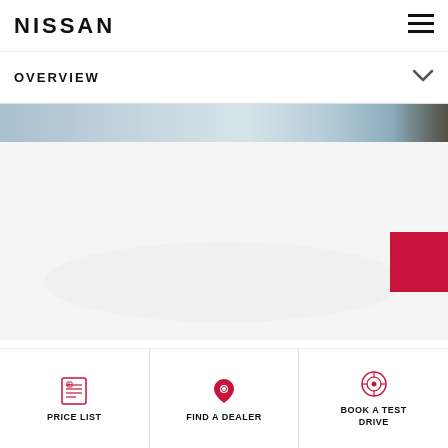NISSAN
OVERVIEW
[Figure (photo): Nissan Navara vehicle hero image with sky background]
NISSAN NAVARA – DARE TO
PRICE LIST
FIND A DEALER
BOOK A TEST DRIVE